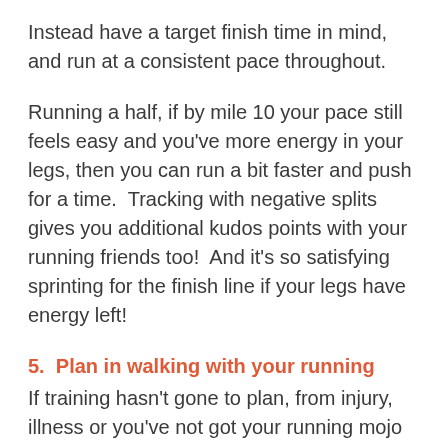Instead have a target finish time in mind, and run at a consistent pace throughout.
Running a half, if by mile 10 your pace still feels easy and you've more energy in your legs, then you can run a bit faster and push for a time.  Tracking with negative splits gives you additional kudos points with your running friends too!  And it's so satisfying sprinting for the finish line if your legs have energy left!
5.  Plan in walking with your running
If training hasn't gone to plan, from injury, illness or you've not got your running mojo back after Christmas, and you're not sure whether you can run the